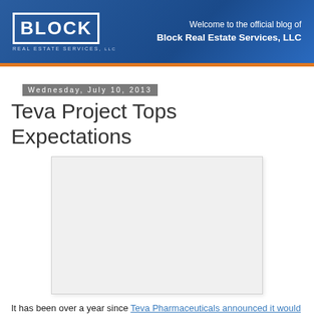Welcome to the official blog of Block Real Estate Services, LLC
Wednesday, July 10, 2013
Teva Project Tops Expectations
[Figure (photo): Photo placeholder related to Teva Pharmaceuticals project]
It has been over a year since Teva Pharmaceuticals announced it would be moving from Kansas City to Overland Park. To move their 400 employees across the state line and into a facility that fits their needs, Teva teamed up with Block